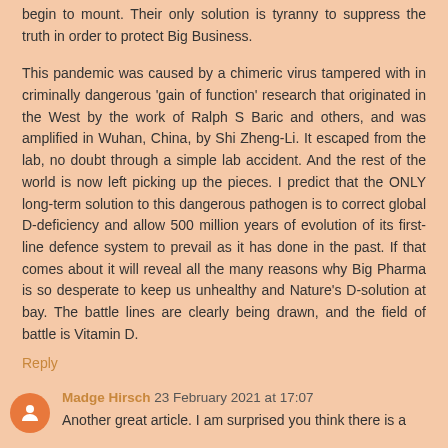begin to mount. Their only solution is tyranny to suppress the truth in order to protect Big Business.
This pandemic was caused by a chimeric virus tampered with in criminally dangerous 'gain of function' research that originated in the West by the work of Ralph S Baric and others, and was amplified in Wuhan, China, by Shi Zheng-Li. It escaped from the lab, no doubt through a simple lab accident. And the rest of the world is now left picking up the pieces. I predict that the ONLY long-term solution to this dangerous pathogen is to correct global D-deficiency and allow 500 million years of evolution of its first-line defence system to prevail as it has done in the past. If that comes about it will reveal all the many reasons why Big Pharma is so desperate to keep us unhealthy and Nature's D-solution at bay. The battle lines are clearly being drawn, and the field of battle is Vitamin D.
Reply
Madge Hirsch 23 February 2021 at 17:07
Another great article. I am surprised you think there is a